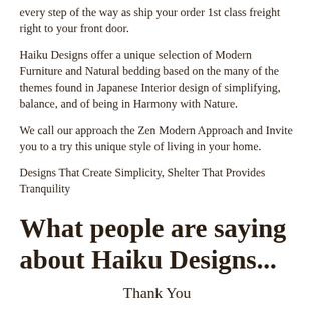every step of the way as ship your order 1st class freight right to your front door.
Haiku Designs offer a unique selection of Modern Furniture and Natural bedding based on the many of the themes found in Japanese Interior design of simplifying, balance, and of being in Harmony with Nature.
We call our approach the Zen Modern Approach and Invite you to a try this unique style of living in your home.
Designs That Create Simplicity, Shelter That Provides Tranquility
What people are saying about Haiku Designs...
Thank You